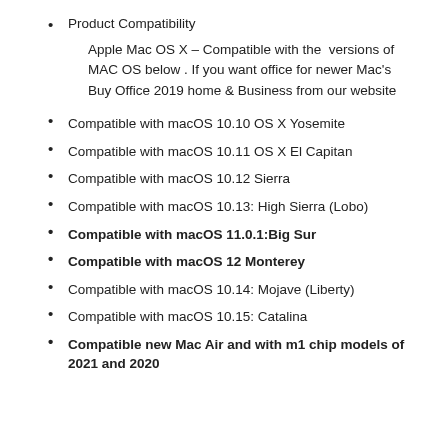Product Compatibility
Apple Mac OS X – Compatible with the versions of MAC OS below . If you want office for newer Mac's Buy Office 2019 home & Business from our website
Compatible with macOS 10.10 OS X Yosemite
Compatible with macOS 10.11 OS X El Capitan
Compatible with macOS 10.12 Sierra
Compatible with macOS 10.13: High Sierra (Lobo)
Compatible with macOS 11.0.1:Big Sur
Compatible with macOS 12 Monterey
Compatible with macOS 10.14: Mojave (Liberty)
Compatible with macOS 10.15: Catalina
Compatible new Mac Air and with m1 chip models of 2021 and 2020